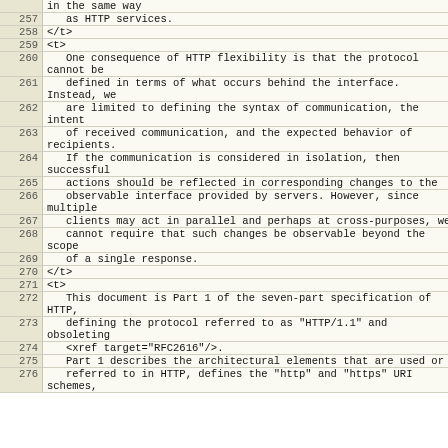| line | code |
| --- | --- |
| 257 |    as HTTP services. |
| 258 | </t> |
| 259 | <t> |
| 260 |    One consequence of HTTP flexibility is that the protocol cannot be |
| 261 |    defined in terms of what occurs behind the interface. Instead, we |
| 262 |    are limited to defining the syntax of communication, the intent |
| 263 |    of received communication, and the expected behavior of recipients. |
| 264 |    If the communication is considered in isolation, then successful |
| 265 |    actions should be reflected in corresponding changes to the |
| 266 |    observable interface provided by servers. However, since multiple |
| 267 |    clients may act in parallel and perhaps at cross-purposes, we |
| 268 |    cannot require that such changes be observable beyond the scope |
| 269 |    of a single response. |
| 270 | </t> |
| 271 | <t> |
| 272 |    This document is Part 1 of the seven-part specification of HTTP, |
| 273 |    defining the protocol referred to as "HTTP/1.1" and obsoleting |
| 274 |    <xref target="RFC2616"/>. |
| 275 |    Part 1 describes the architectural elements that are used or |
| 276 |    referred to in HTTP, defines the "http" and "https" URI schemes, |